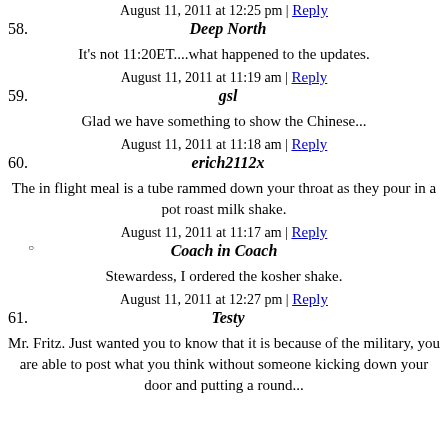August 11, 2011 at 12:25 pm | Reply
58. Deep North
It's not 11:20ET....what happened to the updates.
August 11, 2011 at 11:19 am | Reply
59. gsl
Glad we have something to show the Chinese...
August 11, 2011 at 11:18 am | Reply
60. erich2112x
The in flight meal is a tube rammed down your throat as they pour in a pot roast milk shake.
August 11, 2011 at 11:17 am | Reply
Coach in Coach
Stewardess, I ordered the kosher shake.
August 11, 2011 at 12:27 pm | Reply
61. Testy
Mr. Fritz. Just wanted you to know that it is because of the military, you are able to post what you think without someone kicking down your door and putting a round...